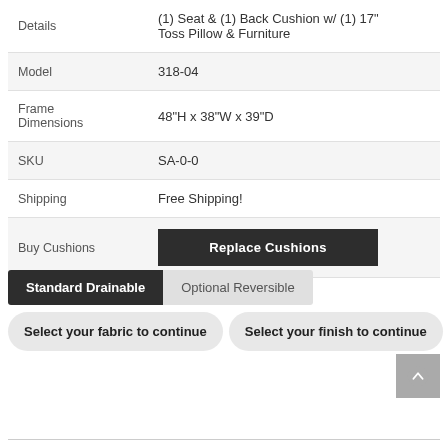| Label | Value |
| --- | --- |
| Details | (1) Seat & (1) Back Cushion w/ (1) 17" Toss Pillow & Furniture |
| Model | 318-04 |
| Frame Dimensions | 48"H x 38"W x 39"D |
| SKU | SA-0-0 |
| Shipping | Free Shipping! |
| Buy Cushions | Replace Cushions |
Standard Drainable | Optional Reversible
Select your fabric to continue
Select your finish to continue